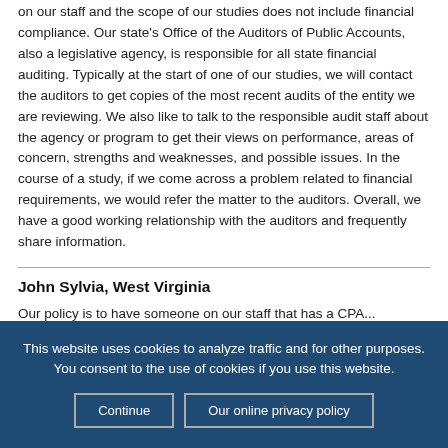on our staff and the scope of our studies does not include financial compliance. Our state's Office of the Auditors of Public Accounts, also a legislative agency, is responsible for all state financial auditing. Typically at the start of one of our studies, we will contact the auditors to get copies of the most recent audits of the entity we are reviewing. We also like to talk to the responsible audit staff about the agency or program to get their views on performance, areas of concern, strengths and weaknesses, and possible issues. In the course of a study, if we come across a problem related to financial requirements, we would refer the matter to the auditors. Overall, we have a good working relationship with the auditors and frequently share information.
John Sylvia, West Virginia
Our policy is to have someone on our staff that has a CPA...
This website uses cookies to analyze traffic and for other purposes. You consent to the use of cookies if you use this website.